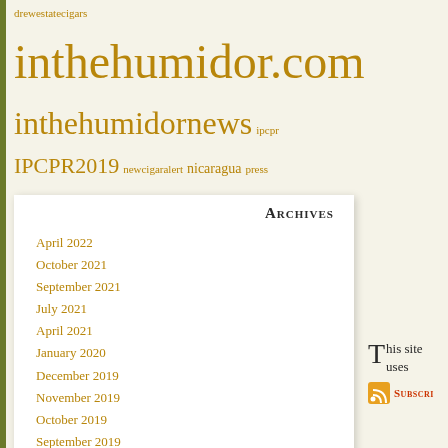drewestatecigars inthehumidor.com inthehumidornews ipcpr IPCPR2019 newcigaralert nicaragua press release pressrelease readitherefirst Rocky Patel sistersoftheleaf sotl
Archives
April 2022
October 2021
September 2021
July 2021
April 2021
January 2020
December 2019
November 2019
October 2019
September 2019
July 2019
June 2019
This site uses
Subscribe